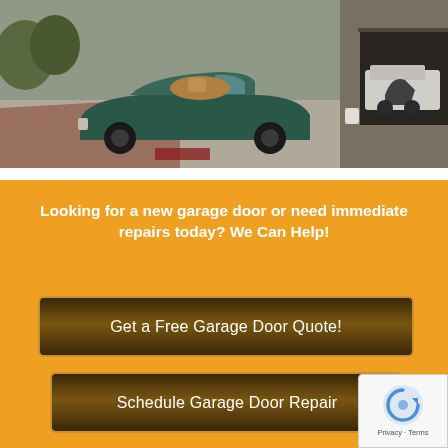[Figure (photo): Photo of a teal classic convertible car (MGB style) parked in a driveway in front of a garage, with another white/silver car visible in the garage background.]
Looking for a new garage door or need immediate repairs today? We Can Help!
Get a Free Garage Door Quote!
Schedule Garage Door Repair